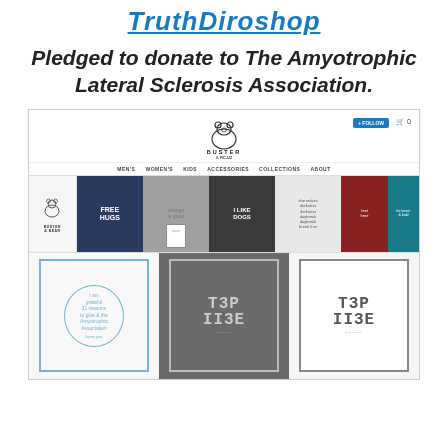TruthDiroshop
Pledged to donate to The Amyotrophic Lateral Sclerosis Association.
[Figure (screenshot): Screenshot of the Buster & Bear online t-shirt store on TruthDiroshop, showing store logo with a polar bear icon, navigation menu (MEN'S, WOMEN'S, KIDS, ACCESSORIES, COLLECTIONS, ABOUT), a row of t-shirt product images in various colors, and a bottom row of three product cards with ornate border designs and 'T3P II3E' text.]